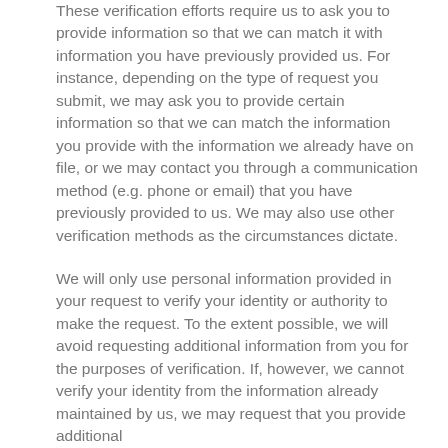These verification efforts require us to ask you to provide information so that we can match it with information you have previously provided us. For instance, depending on the type of request you submit, we may ask you to provide certain information so that we can match the information you provide with the information we already have on file, or we may contact you through a communication method (e.g. phone or email) that you have previously provided to us. We may also use other verification methods as the circumstances dictate.
We will only use personal information provided in your request to verify your identity or authority to make the request. To the extent possible, we will avoid requesting additional information from you for the purposes of verification. If, however, we cannot verify your identity from the information already maintained by us, we may request that you provide additional